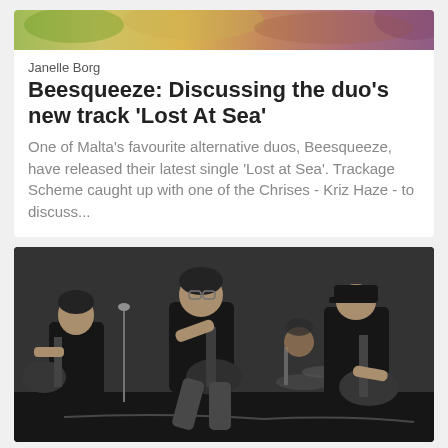[Figure (photo): Colorful blurred banner/header image at top of article card]
Janelle Borg
Beesqueeze: Discussing the duo’s new track ‘Lost At Sea’
One of Malta's favourite alternative duos, Beesqueeze, have released their latest single 'Lost at Sea'. Trackage Scheme caught up with one of the Chrises - Kriz Haze - to discuss...
[Figure (photo): Black and white photo of a band performing on stage, showing three musicians playing guitars with a drummer partially visible in the background]